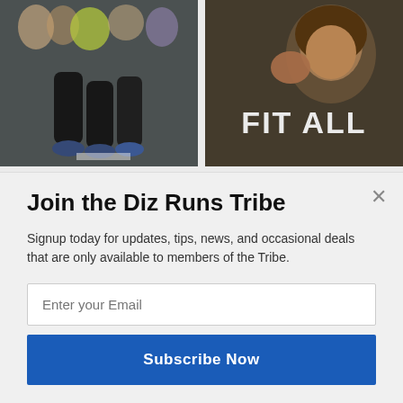[Figure (photo): Two photos side by side: left shows runners' legs during a road race; right shows a meme image of a person with text 'FIT ALL' in large white bold letters]
0
REPLIES
Leave a Reply
Join the Diz Runs Tribe
Signup today for updates, tips, news, and occasional deals that are only available to members of the Tribe.
Enter your Email
Subscribe Now